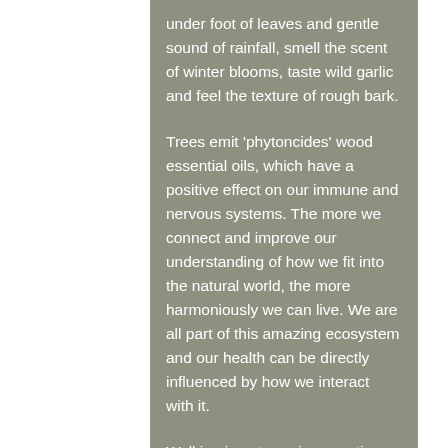under foot of leaves and gentle sound of rainfall, smell the scent of winter blooms, taste wild garlic and feel the texture of rough bark.
Trees emit 'phytoncides' wood essential oils, which have a positive effect on our immune and nervous systems. The more we connect and improve our understanding of how we fit into the natural world, the more harmoniously we can live. We are all part of this amazing ecosystem and our health can be directly influenced by how we interact with it.
Walking in nature gives me time to think, step away from commitments and concentrate on the changing season. It is also a great opportunity to chat through